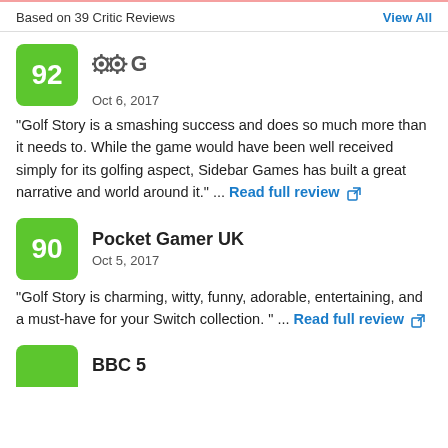Based on 39 Critic Reviews
View All
[Figure (logo): Gear symbol logo (COG / OpenCritic logo)]
Oct 6, 2017
"Golf Story is a smashing success and does so much more than it needs to. While the game would have been well received simply for its golfing aspect, Sidebar Games has built a great narrative and world around it." ... Read full review
Pocket Gamer UK
Oct 5, 2017
"Golf Story is charming, witty, funny, adorable, entertaining, and a must-have for your Switch collection. " ... Read full review
BBC 5